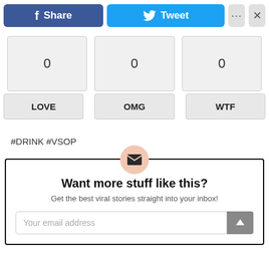[Figure (screenshot): Social share toolbar with Facebook Share button (blue), Twitter Tweet button (light blue), more options button (...), and close button (X)]
0   0   0
LOVE   OMG   WTF
#DRINK #VSOP
[Figure (infographic): Email newsletter signup box with envelope icon in peach circle, heading 'Want more stuff like this?', subtext 'Get the best viral stories straight into your inbox!', and an email input field with scroll-up button]